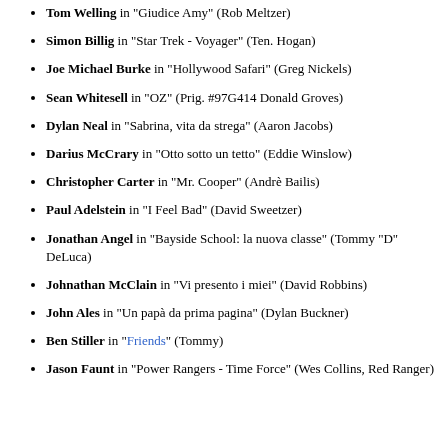Tom Welling in "Giudice Amy" (Rob Meltzer)
Simon Billig in "Star Trek - Voyager" (Ten. Hogan)
Joe Michael Burke in "Hollywood Safari" (Greg Nickels)
Sean Whitesell in "OZ" (Prig. #97G414 Donald Groves)
Dylan Neal in "Sabrina, vita da strega" (Aaron Jacobs)
Darius McCrary in "Otto sotto un tetto" (Eddie Winslow)
Christopher Carter in "Mr. Cooper" (Andrè Bailis)
Paul Adelstein in "I Feel Bad" (David Sweetzer)
Jonathan Angel in "Bayside School: la nuova classe" (Tommy "D" DeLuca)
Johnathan McClain in "Vi presento i miei" (David Robbins)
John Ales in "Un papà da prima pagina" (Dylan Buckner)
Ben Stiller in "Friends" (Tommy)
Jason Faunt in "Power Rangers - Time Force" (Wes Collins, Red Ranger)